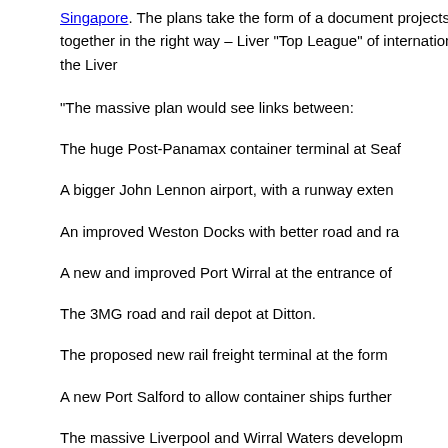Singapore. The plans take the form of a document projects are pulled together in the right way – Liver "Top League" of international ports. From the Liver
“The massive plan would see links between:
The huge Post-Panamax container terminal at Seaf
A bigger John Lennon airport, with a runway exten
An improved Weston Docks with better road and ra
A new and improved Port Wirral at the entrance of
The 3MG road and rail depot at Ditton.
The proposed new rail freight terminal at the form
A new Port Salford to allow container ships further
The massive Liverpool and Wirral Waters developm
The second Mersey crossing.”